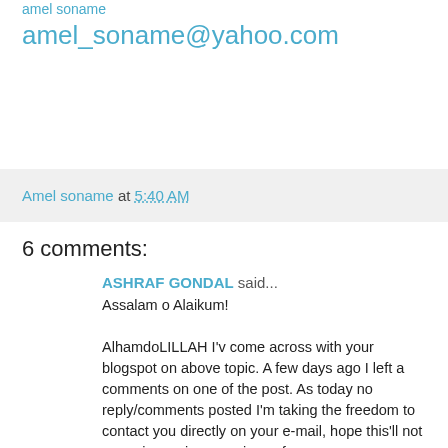amel soname
amel_soname@yahoo.com
Amel soname at 5:40 AM
6 comments:
ASHRAF GONDAL said...
Assalam o Alaikum!

AlhamdoLILLAH I'v come across with your blogspot on above topic. A few days ago I left a comments on one of the post. As today no reply/comments posted I'm taking the freedom to contact you directly on your e-mail, hope this'll not mean in any inconvenience for you.